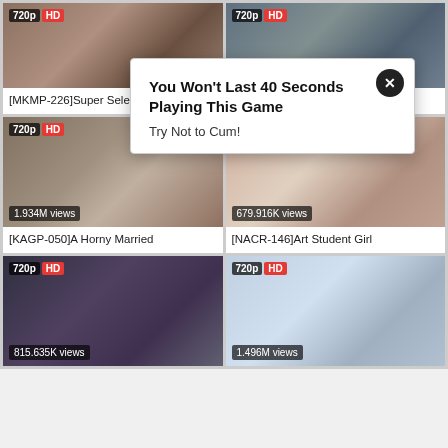[Figure (screenshot): Adult video streaming website grid layout with thumbnail cards and a popup advertisement overlay]
[MKMP-226]Super Selections
[MUDR-034]School Caste A
1.934M views
[KAGP-050]A Horny Married
679.916K views
[NACR-146]Art Student Girl
815.635K views
1.496M views
You Won't Last 40 Seconds Playing This Game
Try Not to Cum!